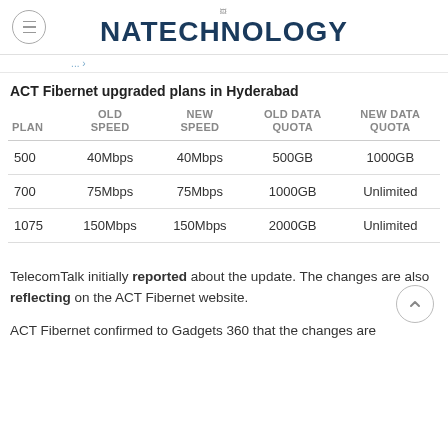NATECHNOLOGY
ACT Fibernet upgraded plans in Hyderabad
| PLAN | OLD SPEED | NEW SPEED | OLD DATA QUOTA | NEW DATA QUOTA |
| --- | --- | --- | --- | --- |
| 500 | 40Mbps | 40Mbps | 500GB | 1000GB |
| 700 | 75Mbps | 75Mbps | 1000GB | Unlimited |
| 1075 | 150Mbps | 150Mbps | 2000GB | Unlimited |
TelecomTalk initially reported about the update. The changes are also reflecting on the ACT Fibernet website.
ACT Fibernet confirmed to Gadgets 360 that the changes are